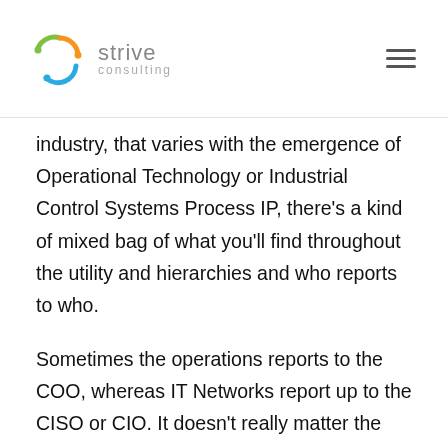Strive Consulting
industry, that varies with the emergence of Operational Technology or Industrial Control Systems Process IP, there's a kind of mixed bag of what you'll find throughout the utility and hierarchies and who reports to who.
Sometimes the operations reports to the COO, whereas IT Networks report up to the CISO or CIO. It doesn't really matter the hierarchy, you just need to make sure that you have capable cybersecurity professionals and that you have a leadership